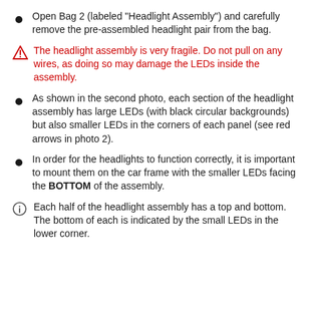Open Bag 2 (labeled "Headlight Assembly") and carefully remove the pre-assembled headlight pair from the bag.
The headlight assembly is very fragile. Do not pull on any wires, as doing so may damage the LEDs inside the assembly.
As shown in the second photo, each section of the headlight assembly has large LEDs (with black circular backgrounds) but also smaller LEDs in the corners of each panel (see red arrows in photo 2).
In order for the headlights to function correctly, it is important to mount them on the car frame with the smaller LEDs facing the BOTTOM of the assembly.
Each half of the headlight assembly has a top and bottom. The bottom of each is indicated by the small LEDs in the lower corner.